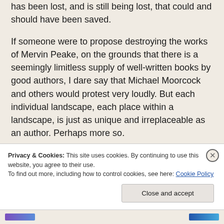has been lost, and is still being lost, that could and should have been saved.
If someone were to propose destroying the works of Mervin Peake, on the grounds that there is a seemingly limitless supply of well-written books by good authors, I dare say that Michael Moorcock and others would protest very loudly. But each individual landscape, each place within a landscape, is just as unique and irreplaceable as an author. Perhaps more so.
Privacy & Cookies: This site uses cookies. By continuing to use this website, you agree to their use. To find out more, including how to control cookies, see here: Cookie Policy
Close and accept